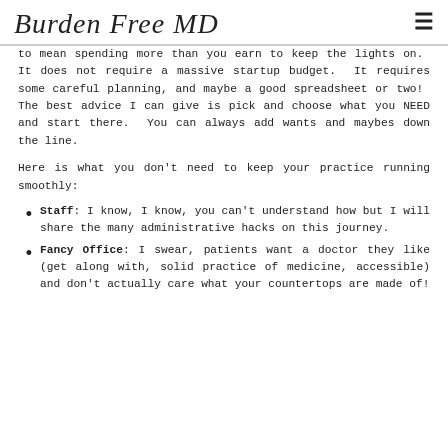Burden Free MD
to mean spending more than you earn to keep the lights on.  It does not require a massive startup budget.  It requires some careful planning, and maybe a good spreadsheet or two!  The best advice I can give is pick and choose what you NEED and start there.  You can always add wants and maybes down the line.
Here is what you don't need to keep your practice running smoothly:
Staff: I know, I know, you can't understand how but I will share the many administrative hacks on this journey.
Fancy Office: I swear, patients want a doctor they like (get along with, solid practice of medicine, accessible) and don't actually care what your countertops are made of!